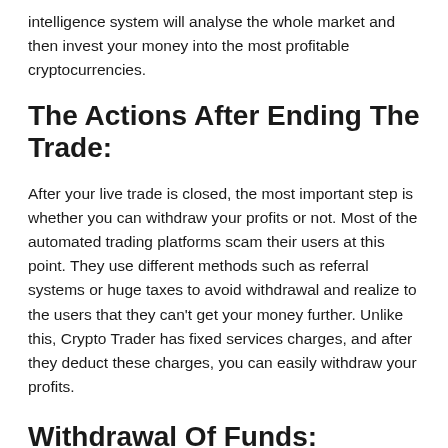intelligence system will analyse the whole market and then invest your money into the most profitable cryptocurrencies.
The Actions After Ending The Trade:
After your live trade is closed, the most important step is whether you can withdraw your profits or not. Most of the automated trading platforms scam their users at this point. They use different methods such as referral systems or huge taxes to avoid withdrawal and realize to the users that they can't get your money further. Unlike this, Crypto Trader has fixed services charges, and after they deduct these charges, you can easily withdraw your profits.
Withdrawal Of Funds: